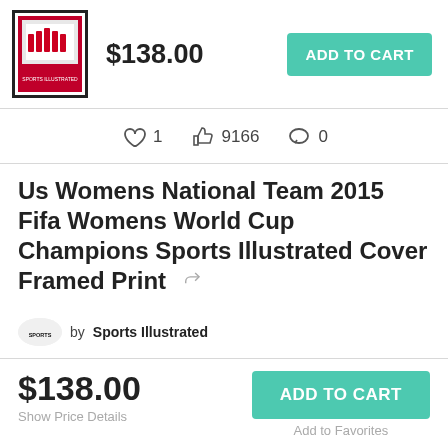[Figure (photo): Thumbnail of Sports Illustrated framed print showing US Women's National Team]
$138.00
ADD TO CART
1  9166  0
Us Womens National Team 2015 Fifa Womens World Cup Champions Sports Illustrated Cover Framed Print
by Sports Illustrated
$138.00
Show Price Details
ADD TO CART
Add to Favorites
Pay in 4 interest-free payments of $34.50 with PayPal. Learn more